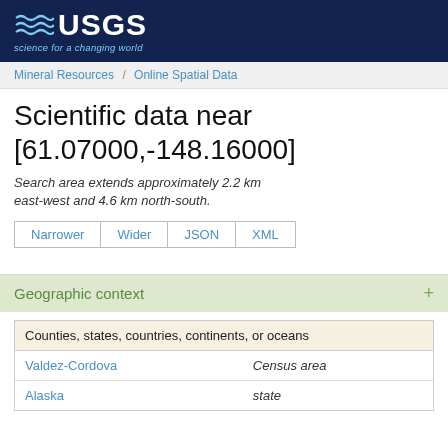[Figure (logo): USGS logo with wave symbol and tagline 'science for a changing world' on dark navy background]
Mineral Resources / Online Spatial Data
Scientific data near [61.07000,-148.16000]
Search area extends approximately 2.2 km east-west and 4.6 km north-south.
Narrower | Wider | JSON | XML
Geographic context
| Counties, states, countries, continents, or oceans |  |
| --- | --- |
| Valdez-Cordova | Census area |
| Alaska | state |